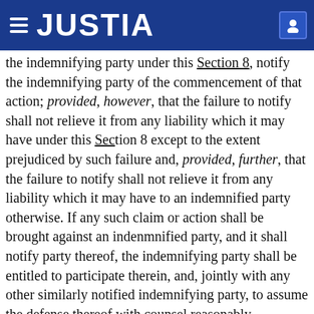JUSTIA
the indemnifying party under this Section 8, notify the indemnifying party of the commencement of that action; provided, however, that the failure to notify shall not relieve it from any liability which it may have under this Section 8 except to the extent prejudiced by such failure and, provided, further, that the failure to notify shall not relieve it from any liability which it may have to an indemnified party otherwise. If any such claim or action shall be brought against an indemnified party, and it shall notify party thereof, the indemnifying party shall be entitled to participate therein, and, jointly with any other similarly notified indemnifying party, to assume the defense thereof with counsel reasonably satisfactory to the indemnified party. After notice from the indemnifying party to the indemnified party of its election to assume the defense of such claim or action, the indemnifying party shall not be liable to the indemnified party under this Section 8 for any legal or other expenses subsequently incurred by the indemnified party in connection with the defense, investigation; provided, however, that the Representatives shall have the right to employ jointly the Representatives and those other Underwriters and their respective officers, employees, agents, affiliates and controlling persons who are indemnified parties in respect of which indemnity may be sought by the Underwriters under this Section 8 if, (i) the Partnership and the Underwriters shall